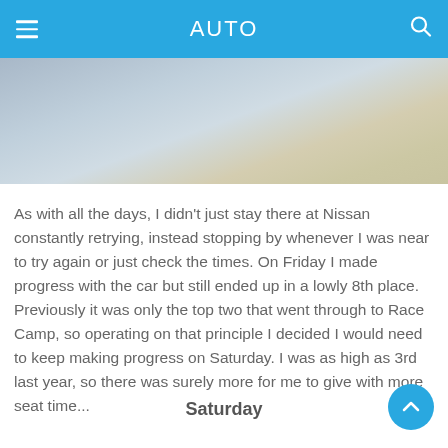AUTO
[Figure (photo): Partial view of a car interior or exterior, showing a light beige/grey surface with a blue/grey sky or roof area visible at the top.]
As with all the days, I didn't just stay there at Nissan constantly retrying, instead stopping by whenever I was near to try again or just check the times. On Friday I made progress with the car but still ended up in a lowly 8th place. Previously it was only the top two that went through to Race Camp, so operating on that principle I decided I would need to keep making progress on Saturday. I was as high as 3rd last year, so there was surely more for me to give with more seat time...
Saturday